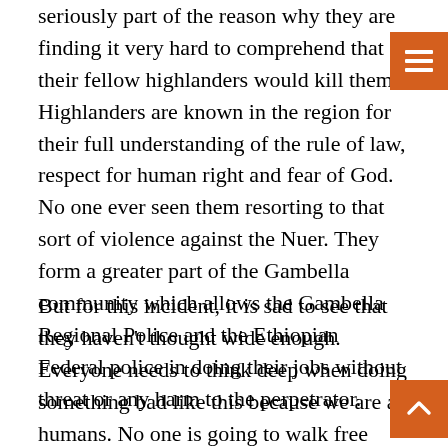seriously part of the reason why they are finding it very hard to comprehend that their fellow highlanders would kill them. Highlanders are known in the region for their full understanding of the rule of law, respect for human right and fear of God. No one ever seen them resorting to that sort of violence against the Nuer. They form a greater part of the Gambella community which allows the Gambella Regional Police and the Ethiopian Federal police in doing their jobs without threat or any harm to the perpetrator.
But for this incident, it is sad to see that they haven't thought wide enough. Everyone needs to think deep when doing something bad like this because we are all humans. No one is going to walk free after taking human lives.